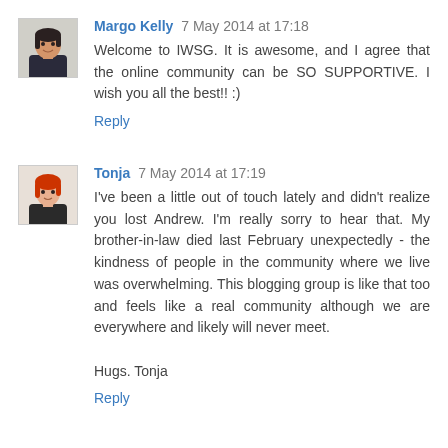Margo Kelly 7 May 2014 at 17:18
Welcome to IWSG. It is awesome, and I agree that the online community can be SO SUPPORTIVE. I wish you all the best!! :)
Reply
Tonja 7 May 2014 at 17:19
I've been a little out of touch lately and didn't realize you lost Andrew. I'm really sorry to hear that. My brother-in-law died last February unexpectedly - the kindness of people in the community where we live was overwhelming. This blogging group is like that too and feels like a real community although we are everywhere and likely will never meet.

Hugs. Tonja
Reply